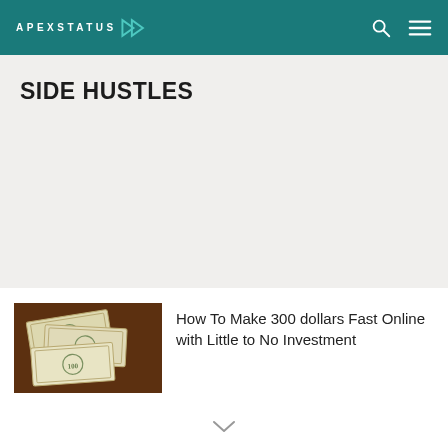APEXSTATUS
SIDE HUSTLES
[Figure (photo): Stack of $100 US dollar bills on a brown wooden surface]
How To Make 300 dollars Fast Online with Little to No Investment